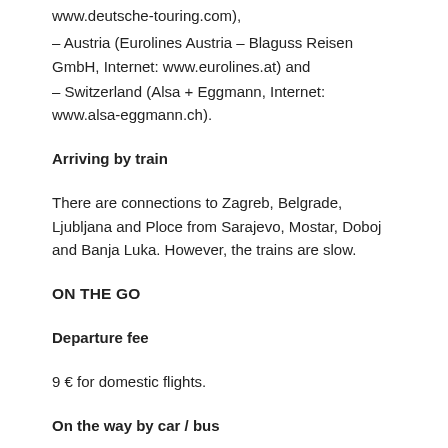www.deutsche-touring.com),
– Austria (Eurolines Austria – Blaguss Reisen GmbH, Internet: www.eurolines.at) and
– Switzerland (Alsa + Eggmann, Internet: www.alsa-eggmann.ch).
Arriving by train
There are connections to Zagreb, Belgrade, Ljubljana and Ploce from Sarajevo, Mostar, Doboj and Banja Luka. However, the trains are slow.
ON THE GO
Departure fee
9 € for domestic flights.
On the way by car / bus